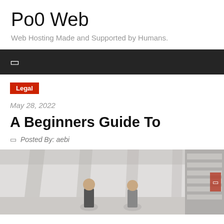Po0 Web
Web Hosting Made and Supported by Humans.
☰
Legal
May 28, 2022
A Beginners Guide To
Posted By: aebi
[Figure (photo): Interior room with two people standing, bright white walls with exposed beams, minimalist style]